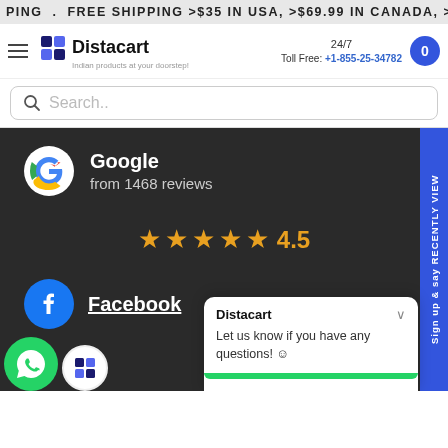PING . FREE SHIPPING >$35 IN USA, >$69.99 IN CANADA, >£
[Figure (screenshot): Distacart website navigation bar with logo, 24/7 toll free number +1-855-25-34782, and cart button]
Search..
Google
from 1468 reviews
★★★★★ 4.5
Facebook
Sign up & say RECENTLY VIEW
Distacart
Let us know if you have any questions! 😊